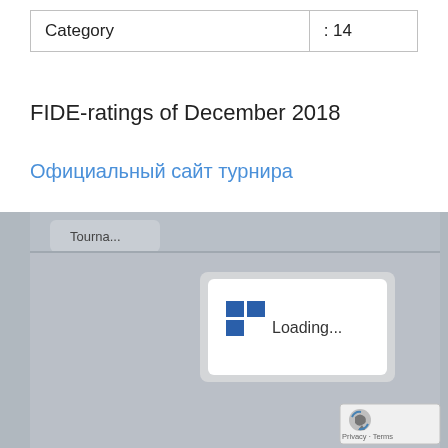| Category | : 14 |
| --- | --- |
FIDE-ratings of December 2018
Официальный сайт турнира
[Figure (screenshot): A screenshot of a tournament results page with a loading spinner dialog showing 'Loading...' text and a grid/table icon, overlaid on a grey background. A tab labeled 'Tourna...' is partially visible. Bottom-right corner shows a reCAPTCHA widget with 'Privacy - Terms' text.]